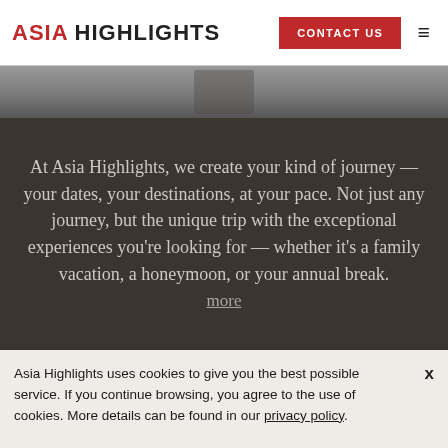ASIA HIGHLIGHTS | CONTACT US
[Figure (photo): Gray toned hero image strip partially visible behind header]
At Asia Highlights, we create your kind of journey — your dates, your destinations, at your pace. Not just any journey, but the unique trip with the exceptional experiences you're looking for — whether it's a family vacation, a honeymoon, or your annual break. more
Asia Highlights uses cookies to give you the best possible service. If you continue browsing, you agree to the use of cookies. More details can be found in our privacy policy.